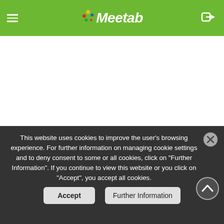Meetab
This website uses cookies to improve the user's browsing experience. For further information on managing cookie settings and to deny consent to some or all cookies, click on "Further Information". If you continue to view this website or you click on "Accept", you accept all cookies.